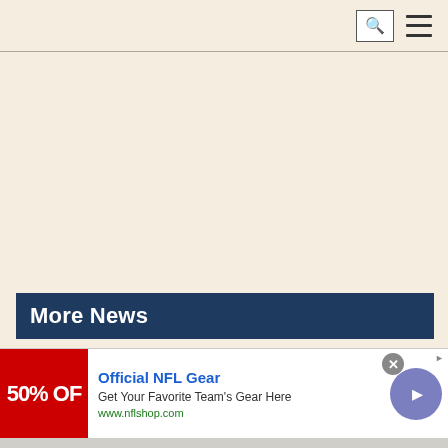Search and navigation header bar
More News
» Global stock market expert James J Engel
[Figure (other): Advertisement banner for Official NFL Gear showing red banner with '50% OF' text, ad title 'Official NFL Gear', description 'Get Your Favorite Team's Gear Here', URL 'www.nflshop.com', with close button and arrow navigation button]